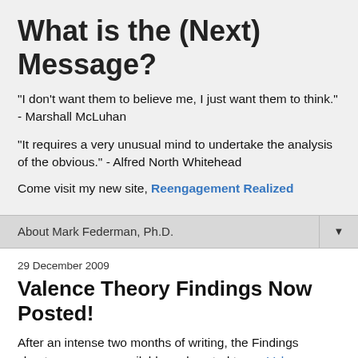What is the (Next) Message?
"I don't want them to believe me, I just want them to think." - Marshall McLuhan
"It requires a very unusual mind to undertake the analysis of the obvious." - Alfred North Whitehead
Come visit my new site, Reengagement Realized
About Mark Federman, Ph.D.
29 December 2009
Valence Theory Findings Now Posted!
After an intense two months of writing, the Findings chapters are now available and posted to my Valence Theory thesis wiki